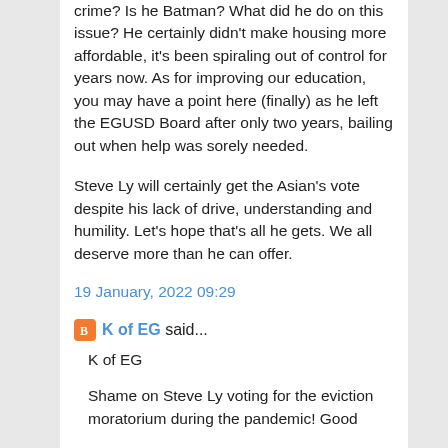crime? Is he Batman? What did he do on this issue? He certainly didn't make housing more affordable, it's been spiraling out of control for years now. As for improving our education, you may have a point here (finally) as he left the EGUSD Board after only two years, bailing out when help was sorely needed.
Steve Ly will certainly get the Asian's vote despite his lack of drive, understanding and humility. Let's hope that's all he gets. We all deserve more than he can offer.
19 January, 2022 09:29
K of EG said...
K of EG
Shame on Steve Ly voting for the eviction moratorium during the pandemic! Good